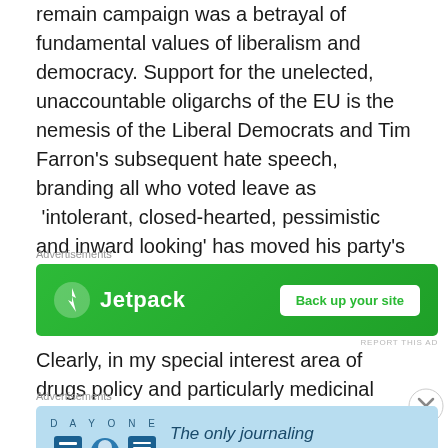remain campaign was a betrayal of fundamental values of liberalism and democracy. Support for the unelected, unaccountable oligarchs of the EU is the nemesis of the Liberal Democrats and Tim Farron's subsequent hate speech, branding all who voted leave as 'intolerant, closed-hearted, pessimistic and inward looking' has moved his party's talent beyond self-harm to political suicide.
[Figure (other): Jetpack advertisement banner with green background showing Jetpack logo and 'Back up your site' button]
Clearly, in my special interest area of drugs policy and particularly medicinal cannabis, the Conservatives, and
[Figure (other): Day One journaling app advertisement with light blue background showing app icons and text 'The only journaling app you'll ever need.']